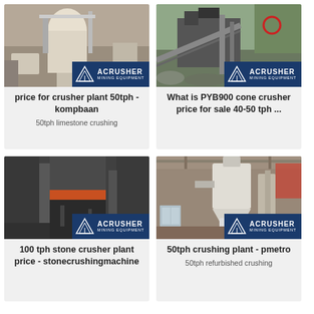[Figure (photo): Industrial crusher/mill equipment in a facility, with ACRUSHER MINING EQUIPMENT logo overlay]
price for crusher plant 50tph - kompbaan
50tph limestone crushing
[Figure (photo): Outdoor rock crushing plant with large crusher machine, with ACRUSHER MINING EQUIPMENT logo overlay]
What is PYB900 cone crusher price for sale 40-50 tph ...
[Figure (photo): Industrial vertical mill/grinder equipment in a factory, with ACRUSHER MINING EQUIPMENT logo overlay]
100 tph stone crusher plant price - stonecrushingmachine
[Figure (photo): Industrial dust collection system and processing equipment in a building, with ACRUSHER MINING EQUIPMENT logo overlay]
50tph crushing plant - pmetro
50tph refurbished crushing